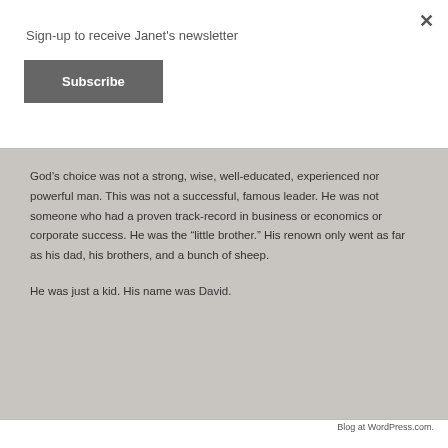Sign-up to receive Janet's newsletter
Subscribe
God’s choice was not a strong, wise, well-educated, experienced nor powerful man.  This was not a successful, famous leader.  He was not someone who had a proven track-record in business or economics or corporate success.  He was the “little brother.”  His renown only went as far as his dad, his brothers, and a bunch of sheep.

He was just a kid. His name was David.
Blog at WordPress.com.